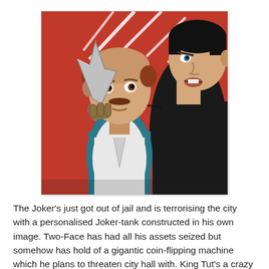[Figure (illustration): Comic book style illustration showing a dark-haired character in black gripping another man (balding, with mustache, wearing a white suit) by the collar and a blade/weapon is raised. The background is bright red with radiating white action lines suggesting impact. The scene depicts a confrontation between two characters.]
The Joker's just got out of jail and is terrorising the city with a personalised Joker-tank constructed in his own image. Two-Face has had all his assets seized but somehow has hold of a gigantic coin-flipping machine which he plans to threaten city hall with. King Tut's a crazy man with a Tutankhamun